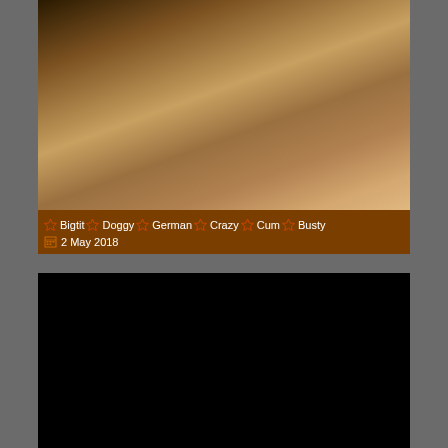[Figure (photo): Video thumbnail showing two people on a yellow surface]
☆ Bigtit ☆ Doggy ☆ German ☆ Crazy ☆ Cum ☆ Busty
2 May 2018
[Figure (photo): Black video player area]